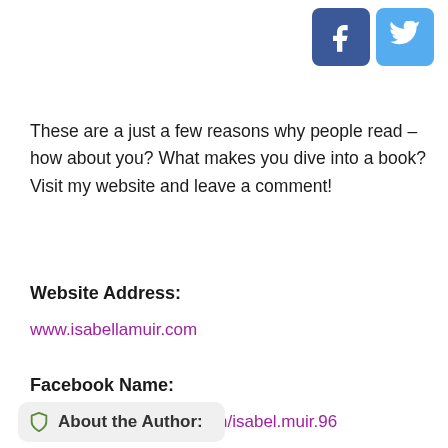[Figure (other): Facebook and Twitter social media icon buttons in the top right corner]
These are a just a few reasons why people read – how about you? What makes you dive into a book? Visit my website and leave a comment!
Website Address:
www.isabellamuir.com
Facebook Name:
https://www.facebook.com/isabel.muir.96
Twitter Name:
@SussexMysteries
About the Author: